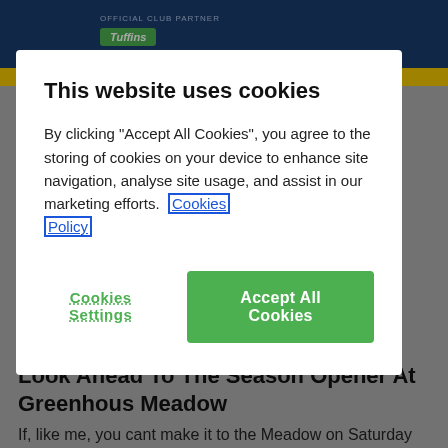OFFICIAL CLUB PARTNER | Tuffins
ShrewsWeb
101 views
Look Ahead To The Season Opener At Greenhous Meadow
If, like me, you cant make it to the Meadow on Saturday
This website uses cookies
By clicking "Accept All Cookies", you agree to the storing of cookies on your device to enhance site navigation, analyse site usage, and assist in our marketing efforts. Cookies Policy
Cookies Settings
Accept All Cookies